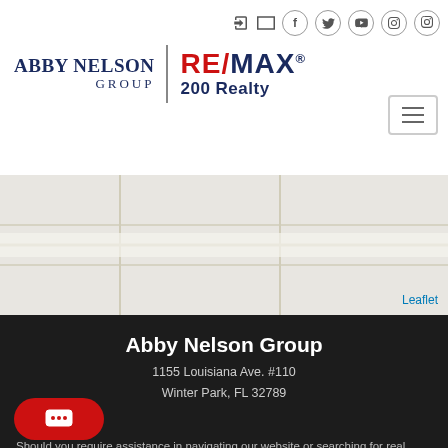Abby Nelson Group | RE/MAX 200 Realty — navigation header with social icons
[Figure (map): Embedded map with Leaflet link in bottom-right corner]
Abby Nelson Group
1155 Louisiana Ave. #110
Winter Park, FL 32789
407-792-1453
Should you require assistance in navigating our website or searching for real contact our offices at 407-792-1453